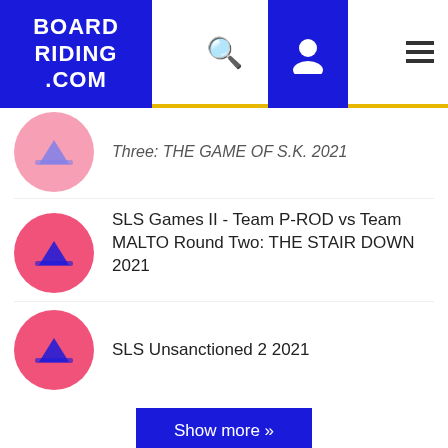BOARD RIDING .COM
Three: THE GAME OF S.K. 2021
SLS Games II - Team P-ROD vs Team MALTO Round Two: THE STAIR DOWN 2021
SLS Unsanctioned 2 2021
Show more »
EVENTS – WINNER
23rd Annual Tampa AM 2016
SLS Nike SB World Tour: Chicago 2017